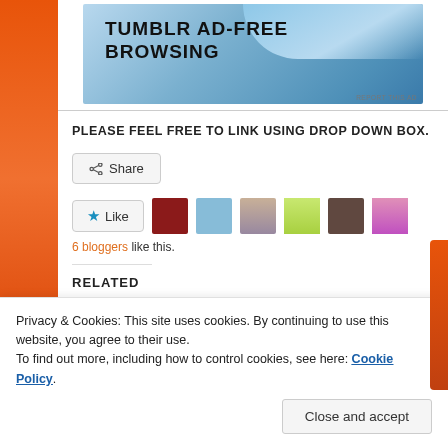[Figure (screenshot): Tumblr Ad-Free Browsing advertisement banner with blue gradient background and bold black text]
PLEASE FEEL FREE TO LINK USING DROP DOWN BOX.
[Figure (screenshot): Share button with share icon]
[Figure (screenshot): Like button with star icon and 6 blogger avatar thumbnails]
6 bloggers like this.
RELATED
Privacy & Cookies: This site uses cookies. By continuing to use this website, you agree to their use.
To find out more, including how to control cookies, see here: Cookie Policy
Close and accept